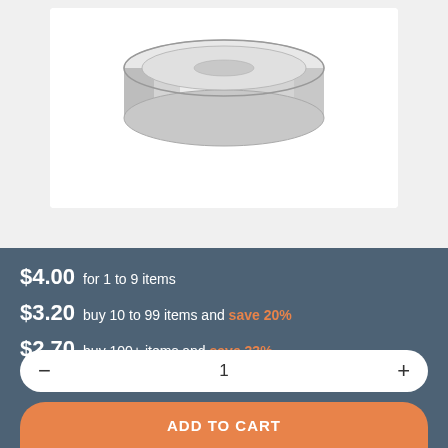[Figure (photo): A silver round disc-shaped neodymium magnet photographed against a white background, showing the top and side edge of the cylindrical magnet.]
$4.00 for 1 to 9 items
$3.20 buy 10 to 99 items and save 20%
$2.70 buy 100+ items and save 33%
1
ADD TO CART